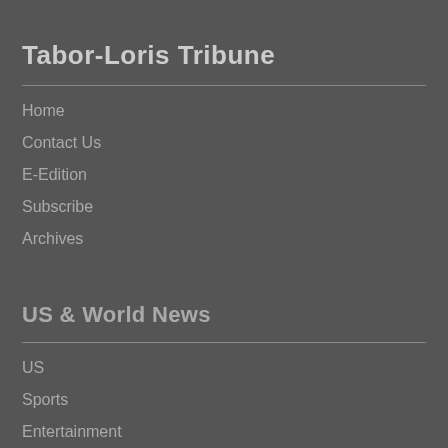Tabor-Loris Tribune
Home
Contact Us
E-Edition
Subscribe
Archives
US & World News
US
Sports
Entertainment
Technology